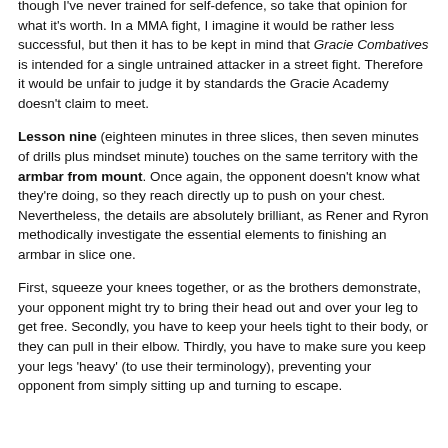though I've never trained for self-defence, so take that opinion for what it's worth. In a MMA fight, I imagine it would be rather less successful, but then it has to be kept in mind that Gracie Combatives is intended for a single untrained attacker in a street fight. Therefore it would be unfair to judge it by standards the Gracie Academy doesn't claim to meet.
Lesson nine (eighteen minutes in three slices, then seven minutes of drills plus mindset minute) touches on the same territory with the armbar from mount. Once again, the opponent doesn't know what they're doing, so they reach directly up to push on your chest. Nevertheless, the details are absolutely brilliant, as Rener and Ryron methodically investigate the essential elements to finishing an armbar in slice one.
First, squeeze your knees together, or as the brothers demonstrate, your opponent might try to bring their head out and over your leg to get free. Secondly, you have to keep your heels tight to their body, or they can pull in their elbow. Thirdly, you have to make sure you keep your legs 'heavy' (to use their terminology), preventing your opponent from simply sitting up and turning to escape.